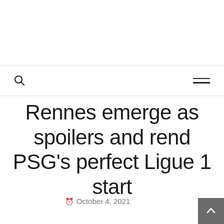Rennes emerge as spoilers and rend PSG’s perfect Ligue 1 start
© October 4, 2021